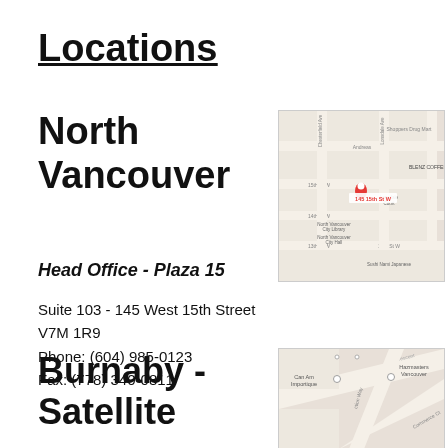Locations
North Vancouver
Head Office - Plaza 15
Suite 103 - 145 West 15th Street V7M 1R9
Phone: (604) 985-0123
Fax: (778) 340-0811
[Figure (map): Google Maps screenshot showing 145 15th St W, North Vancouver, with a red location pin marker and surrounding streets including 13th St W, 14th St W, Lonsdale Ave, Chesterfield Ave, with nearby landmarks like BLENZ COFFEE, Shoppers Drug Mart, North Vancouver City Library, and North Vancouver City Hall.]
Burnaby - Satellite
[Figure (map): Google Maps screenshot showing Burnaby satellite office location with nearby businesses including Can Am Importique, Hazmasters Vancouver, with streets including Commerce Ct and what appears to be an intersection area.]